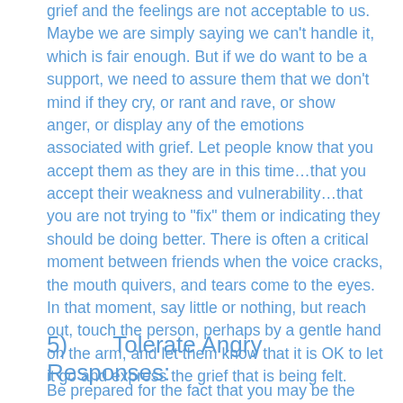grief and the feelings are not acceptable to us. Maybe we are simply saying we can't handle it, which is fair enough. But if we do want to be a support, we need to assure them that we don't mind if they cry, or rant and rave, or show anger, or display any of the emotions associated with grief. Let people know that you accept them as they are in this time…that you accept their weakness and vulnerability…that you are not trying to "fix" them or indicating they should be doing better. There is often a critical moment between friends when the voice cracks, the mouth quivers, and tears come to the eyes. In that moment, say little or nothing, but reach out, touch the person, perhaps by a gentle hand on the arm, and let them know that it is OK to let it go and express the grief that is being felt.
5)      Tolerate Angry Responses:
Be prepared for the fact that you may be the focus of